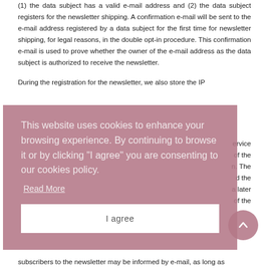(1) the data subject has a valid e-mail address and (2) the data subject registers for the newsletter shipping. A confirmation e-mail will be sent to the e-mail address registered by a data subject for the first time for newsletter shipping, for legal reasons, in the double opt-in procedure. This confirmation e-mail is used to prove whether the owner of the e-mail address as the data subject is authorized to receive the newsletter.
During the registration for the newsletter, we also store the IP ... service ... of the ... n. The ... d the ... a later ... of the
[Figure (screenshot): Cookie consent overlay banner with mauve/rose background. Text reads: 'This website uses cookies to enhance your browsing experience. By continuing to browse it or by clicking "I agree" you are consenting to our cookies policy.' with a 'Read More' link and an 'I agree' button.]
subscribers to the newsletter may be informed by e-mail, as long as